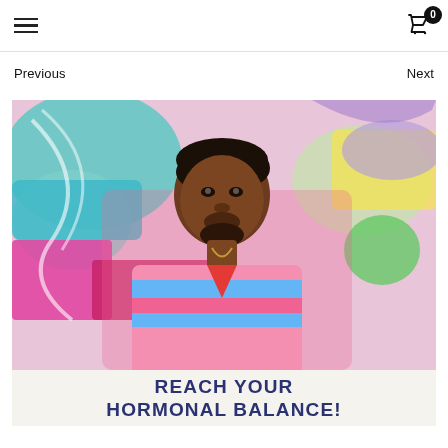≡  0
Previous    Next
[Figure (photo): A young Black man wearing a colorful striped shirt and a chain necklace, standing in front of a colorful graffiti mural wall. Below the photo is a cream-colored banner with bold dark blue text reading REACH YOUR HORMONAL BALANCE!]
REACH YOUR HORMONAL BALANCE!